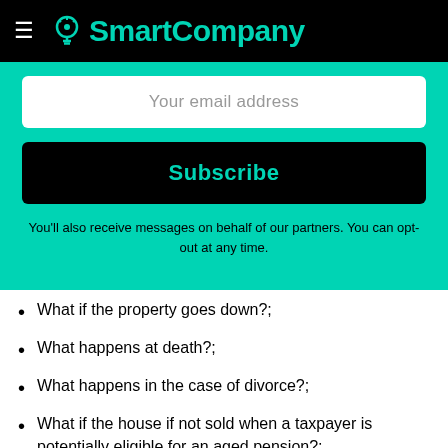SmartCompany
[Figure (screenshot): Email subscription form with 'Your email address' input field and 'Subscribe' button on teal background, with disclaimer text below.]
You'll also receive messages on behalf of our partners. You can opt-out at any time.
What if the property goes down?;
What happens at death?;
What happens in the case of divorce?;
What if the house if not sold when a taxpayer is potentially eligible for an aged pension?;
If there is a gain and it is returned to a superfund, what are the tax implications?;